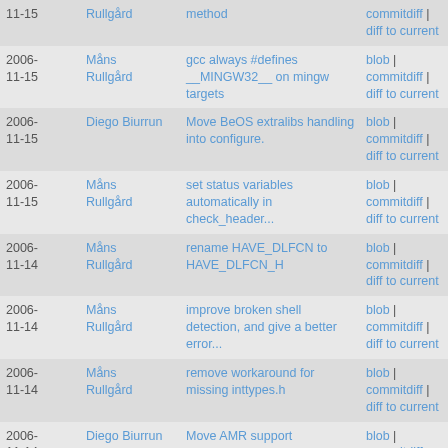| Date | Author | Message | Links |
| --- | --- | --- | --- |
| 2006-11-15 | Måns Rullgård | gcc always #defines __MINGW32__ on mingw targets | blob | commitdiff | diff to current |
| 2006-11-15 | Diego Biurrun | Move BeOS extralibs handling into configure. | blob | commitdiff | diff to current |
| 2006-11-15 | Måns Rullgård | set status variables automatically in check_header... | blob | commitdiff | diff to current |
| 2006-11-14 | Måns Rullgård | rename HAVE_DLFCN to HAVE_DLFCN_H | blob | commitdiff | diff to current |
| 2006-11-14 | Måns Rullgård | improve broken shell detection, and give a better error... | blob | commitdiff | diff to current |
| 2006-11-14 | Måns Rullgård | remove workaround for missing inttypes.h | blob | commitdiff | diff to current |
| 2006-11-14 | Diego Biurrun | Move AMR support | blob | commitdiff |